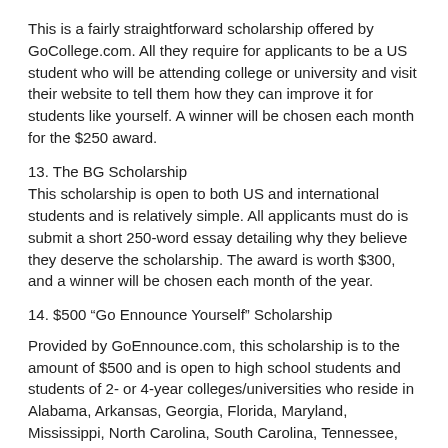This is a fairly straightforward scholarship offered by GoCollege.com. All they require for applicants to be a US student who will be attending college or university and visit their website to tell them how they can improve it for students like yourself. A winner will be chosen each month for the $250 award.
13. The BG Scholarship
This scholarship is open to both US and international students and is relatively simple. All applicants must do is submit a short 250-word essay detailing why they believe they deserve the scholarship. The award is worth $300, and a winner will be chosen each month of the year.
14. $500 “Go Ennounce Yourself” Scholarship
Provided by GoEnnounce.com, this scholarship is to the amount of $500 and is open to high school students and students of 2- or 4-year colleges/universities who reside in Alabama, Arkansas, Georgia, Florida, Maryland, Mississippi, North Carolina, South Carolina, Tennessee, Virginia, West Virginia, and Washington DC. Students must create an online profile at their website and submit fun and interesting facts about their university or unique ways in which they spend their time at school, with a winner being chosen each month.
15. Go Ennounce Ollta College Scholarship